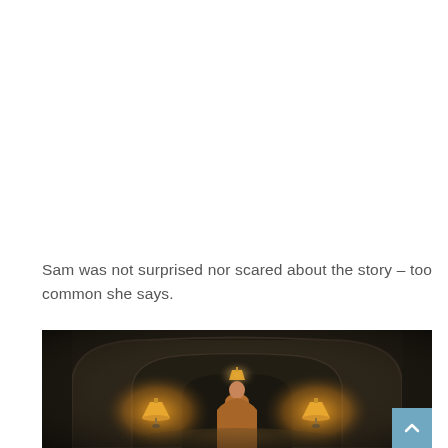Sam was not surprised nor scared about the story – too common she says.
[Figure (photo): Dark atmospheric hallway with arched ceiling, a figure standing with back to viewer, two warm wall sconce lamps illuminating the corridor, moody cinematic lighting]